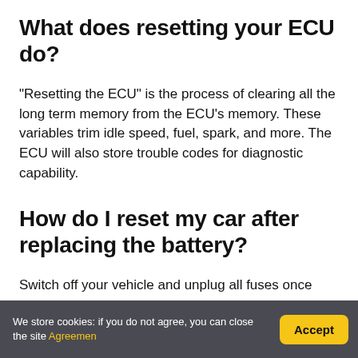What does resetting your ECU do?
“Resetting the ECU” is the process of clearing all the long term memory from the ECU’s memory. These variables trim idle speed, fuel, spark, and more. The ECU will also store trouble codes for diagnostic capability.
How do I reset my car after replacing the battery?
Switch off your vehicle and unplug all fuses once
We store cookies: if you do not agree, you can close the site Agreemen   Accept